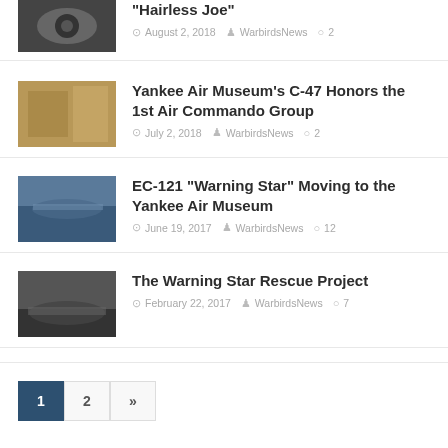[Figure (photo): Aircraft engine front view, dark tones]
“Hairless Joe”
August 2, 2018 · WarbirdsNews · 2
[Figure (photo): Yellow aircraft in hangar]
Yankee Air Museum’s C-47 Honors the 1st Air Commando Group
July 2, 2018 · WarbirdsNews · 2
[Figure (photo): EC-121 Warning Star aircraft on ground]
EC-121 “Warning Star” Moving to the Yankee Air Museum
June 19, 2017 · WarbirdsNews · 12
[Figure (photo): EC-121 Warning Star on ground, dark aircraft]
The Warning Star Rescue Project
February 22, 2017 · WarbirdsNews · 7
Pagination: 1 (active), 2, »